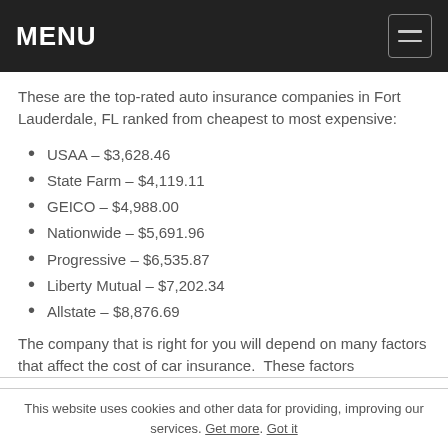MENU
These are the top-rated auto insurance companies in Fort Lauderdale, FL ranked from cheapest to most expensive:
USAA – $3,628.46
State Farm – $4,119.11
GEICO – $4,988.00
Nationwide – $5,691.96
Progressive – $6,535.87
Liberty Mutual – $7,202.34
Allstate – $8,876.69
The company that is right for you will depend on many factors that affect the cost of car insurance.  These factors
This website uses cookies and other data for providing, improving our services. Get more. Got it